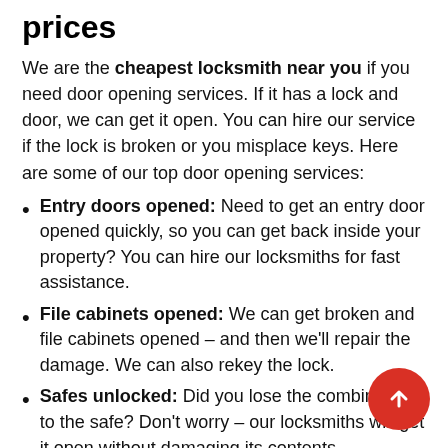prices
We are the cheapest locksmith near you if you need door opening services. If it has a lock and door, we can get it open. You can hire our service if the lock is broken or you misplace keys. Here are some of our top door opening services:
Entry doors opened: Need to get an entry door opened quickly, so you can get back inside your property? You can hire our locksmiths for fast assistance.
File cabinets opened: We can get broken and file cabinets opened – and then we'll repair the damage. We can also rekey the lock.
Safes unlocked: Did you lose the combination to the safe? Don't worry – our locksmiths will get it open without damaging its contents.
Garage doors unlocked: Want a garage door unlocked? We can help. We can also repair and replace garage doors.